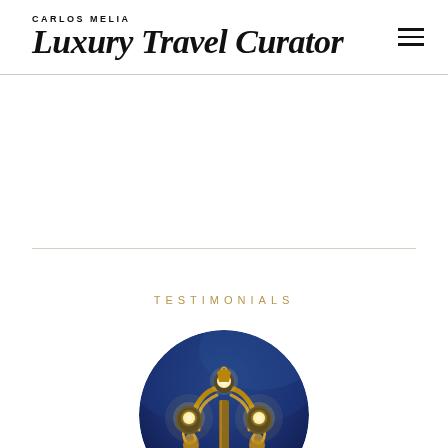CARLOS MELIA Luxury Travel Curator
TESTIMONIALS
[Figure (photo): Circular cropped photograph of an ornate golden street lamp with glowing bulbs against a deep blue twilight sky, photographed from below at an angle. The lamppost appears to be a classic Parisian-style candelabra with decorative sculptures.]